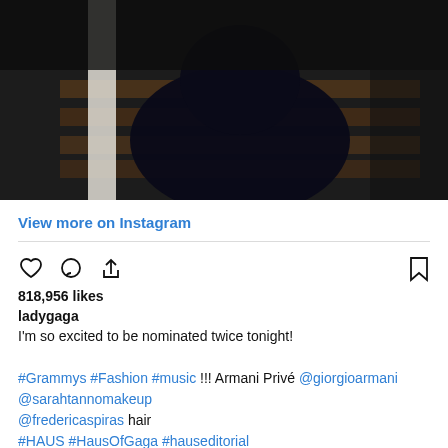[Figure (photo): A person in a large dark black gown/dress seated or kneeling on wooden stairs in a dimly lit interior setting with white columns]
View more on Instagram
818,956 likes
ladygaga
I'm so excited to be nominated twice tonight!

#Grammys #Fashion #music !!! Armani Privé @giorgioarmani @sarahtannomakeup @fredericaspiras hair #HAUS #HausOfGaga #hauseditorial Photography by @hannahkhymych @lorraineschwartz jewelry
view all 6,530 comments